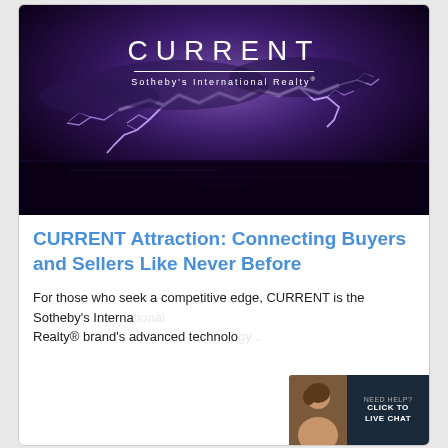[Figure (photo): Dark stormy sky with dramatic lightning bolt over water. CURRENT Sotheby's International Realty logo overlaid in white text at top center.]
CURRENT Attraction: Connecting Buyers and Sellers Like Never Before
For those who seek a competitive edge, CURRENT is the Sotheby's International Realty® brand's advanced technolo...